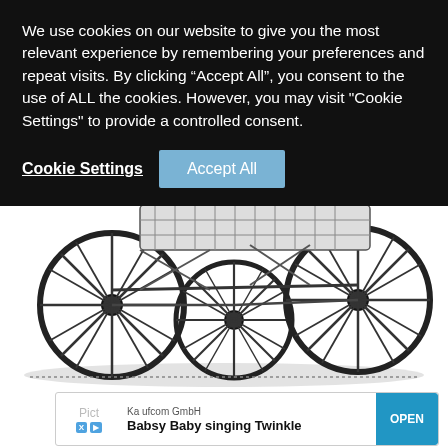We use cookies on our website to give you the most relevant experience by remembering your preferences and repeat visits. By clicking “Accept All”, you consent to the use of ALL the cookies. However, you may visit "Cookie Settings" to provide a controlled consent.
Cookie Settings | Accept All
[Figure (illustration): Vintage black and white engraving illustration of an antique baby carriage/pram showing four spoked wheels and the undercarriage frame structure.]
Kaufcom GmbH
Babsy Baby singing Twinkle
OPEN